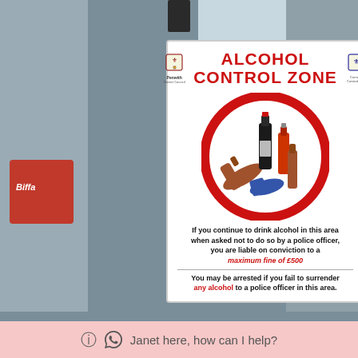[Figure (photo): Street photograph showing an Alcohol Control Zone sign mounted on a black pole. The sign is white with red text and a red prohibition circle containing images of alcohol bottles. To the left is a red Biffa recycling bin, and the background shows a street environment with stone walls and greenery.]
ALCOHOL CONTROL ZONE
If you continue to drink alcohol in this area when asked not to do so by a police officer, you are liable on conviction to a maximum fine of £500
You may be arrested if you fail to surrender any alcohol to a police officer in this area.
Janet here, how can I help?